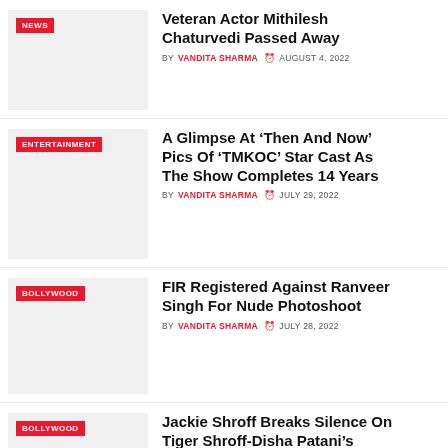[Figure (photo): Thumbnail image placeholder with NEWS badge]
Veteran Actor Mithilesh Chaturvedi Passed Away
BY VANDITA SHARMA  AUGUST 4, 2022
[Figure (photo): Thumbnail image placeholder with ENTERTAINMENT badge]
A Glimpse At ‘Then And Now’ Pics Of ‘TMKOC’ Star Cast As The Show Completes 14 Years
BY VANDITA SHARMA  JULY 29, 2022
[Figure (photo): Thumbnail image placeholder with BOLLYWOOD badge]
FIR Registered Against Ranveer Singh For Nude Photoshoot
BY VANDITA SHARMA  JULY 28, 2022
[Figure (photo): Thumbnail image placeholder with BOLLYWOOD badge]
Jackie Shroff Breaks Silence On Tiger Shroff-Disha Patani’s